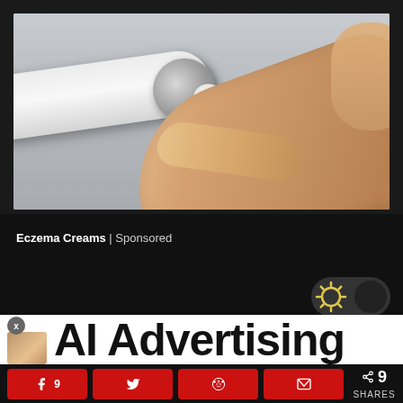[Figure (photo): Close-up photo of a hand squeezing cream from a white tube onto a finger. The tube has a metallic silver cap and appears to be a skincare or eczema cream product.]
Eczema Creams | Sponsored
[Figure (screenshot): Dark mode toggle button (sun icon with dark circle)]
AI Advertising
[Figure (other): Small thumbnail image overlay on left side]
< 9 SHARES
Facebook share button with count 9
Twitter share button
Reddit share button
Email share button